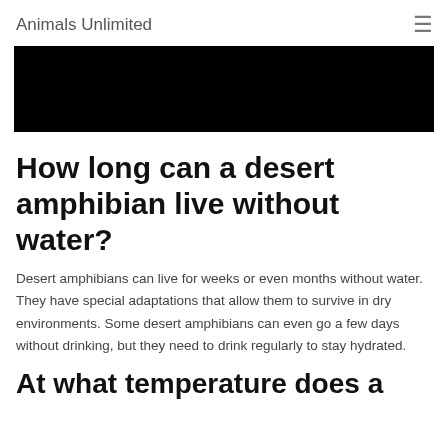Animals Unlimited
[Figure (photo): Black hero image banner at top of article]
How long can a desert amphibian live without water?
Desert amphibians can live for weeks or even months without water. They have special adaptations that allow them to survive in dry environments. Some desert amphibians can even go a few days without drinking, but they need to drink regularly to stay hydrated.
At what temperature does a